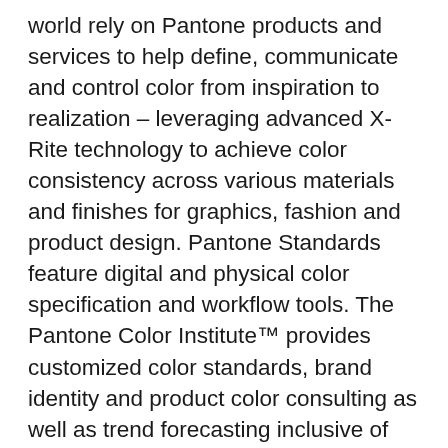world rely on Pantone products and services to help define, communicate and control color from inspiration to realization – leveraging advanced X-Rite technology to achieve color consistency across various materials and finishes for graphics, fashion and product design. Pantone Standards feature digital and physical color specification and workflow tools. The Pantone Color Institute™ provides customized color standards, brand identity and product color consulting as well as trend forecasting inclusive of Pantone Color of the Year, Fashion Runway Color Trend Reports, color psychology and more. Pantone B2B Licensing incorporates the Pantone Color System into different products and services, enabling licensees to communicate and reproduce certified Pantone values and improve efficiencies for their users. Pantone Lifestyle brings color and design together across apparel, home, and accessories. Learn more at www.pantone.com and connect with Pantone